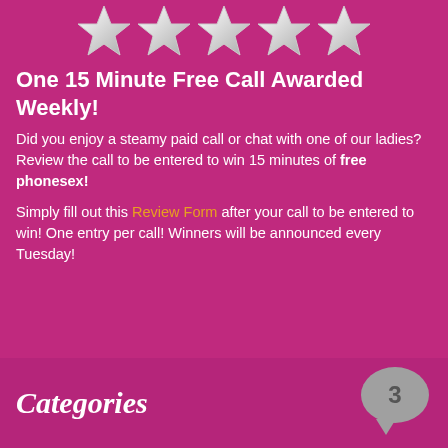[Figure (illustration): Five silver/white stars in a row on pink background]
One 15 Minute Free Call Awarded Weekly!
Did you enjoy a steamy paid call or chat with one of our ladies? Review the call to be entered to win 15 minutes of free phonesex!
Simply fill out this Review Form after your call to be entered to win! One entry per call! Winners will be announced every Tuesday!
Categories